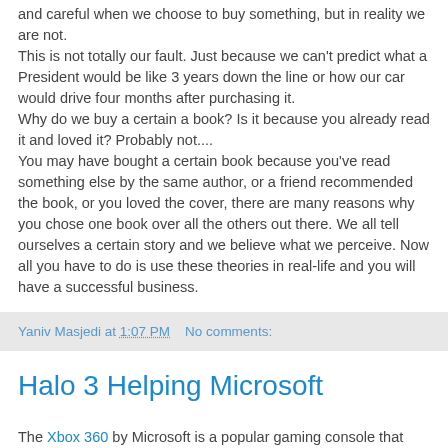and careful when we choose to buy something, but in reality we are not.
This is not totally our fault. Just because we can't predict what a President would be like 3 years down the line or how our car would drive four months after purchasing it.
Why do we buy a certain a book? Is it because you already read it and loved it? Probably not....
You may have bought a certain book because you've read something else by the same author, or a friend recommended the book, or you loved the cover, there are many reasons why you chose one book over all the others out there. We all tell ourselves a certain story and we believe what we perceive. Now all you have to do is use these theories in real-life and you will have a successful business.
Yaniv Masjedi at 1:07 PM   No comments:
Halo 3 Helping Microsoft
The Xbox 360 by Microsoft is a popular gaming console that